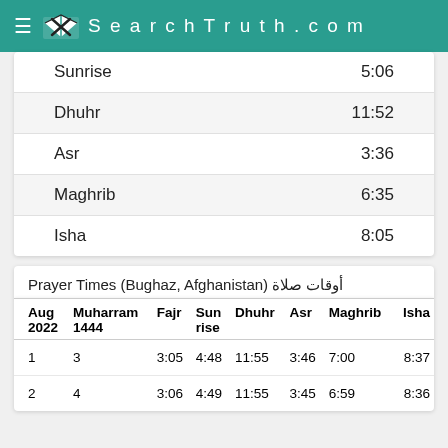SearchTruth.com
| Prayer | Time |
| --- | --- |
| Sunrise | 5:06 |
| Dhuhr | 11:52 |
| Asr | 3:36 |
| Maghrib | 6:35 |
| Isha | 8:05 |
Prayer Times (Bughaz, Afghanistan) أوقات صلاة
| Aug 2022 | Muharram 1444 | Fajr | Sunrise | Dhuhr | Asr | Maghrib | Isha |
| --- | --- | --- | --- | --- | --- | --- | --- |
| 1 | 3 | 3:05 | 4:48 | 11:55 | 3:46 | 7:00 | 8:37 |
| 2 | 4 | 3:06 | 4:49 | 11:55 | 3:45 | 6:59 | 8:36 |